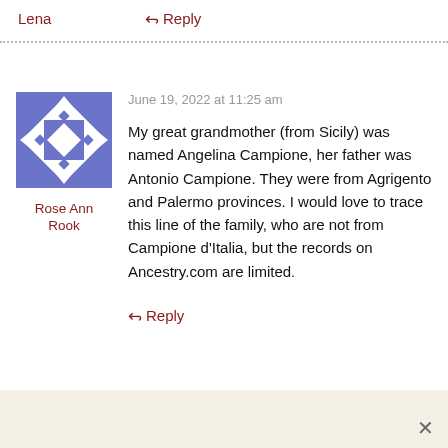Lena
↳ Reply
June 19, 2022 at 11:25 am
[Figure (illustration): Generic user avatar with blue geometric pattern — squares, diamonds, arrows on white background]
Rose Ann Rook
My great grandmother (from Sicily) was named Angelina Campione, her father was Antonio Campione. They were from Agrigento and Palermo provinces. I would love to trace this line of the family, who are not from Campione d'Italia, but the records on Ancestry.com are limited.
↳ Reply